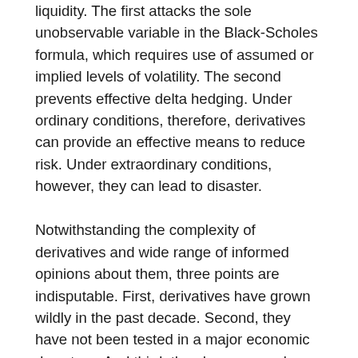liquidity. The first attacks the sole unobservable variable in the Black-Scholes formula, which requires use of assumed or implied levels of volatility. The second prevents effective delta hedging. Under ordinary conditions, therefore, derivatives can provide an effective means to reduce risk. Under extraordinary conditions, however, they can lead to disaster.
Notwithstanding the complexity of derivatives and wide range of informed opinions about them, three points are indisputable. First, derivatives have grown wildly in the past decade. Second, they have not been tested in a major economic downturn. And third, they have caused some dramatic and surprising